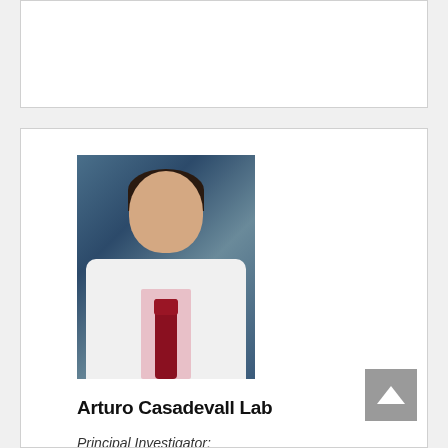[Figure (other): Empty white card at top of page]
[Figure (photo): Professional headshot of Arturo Casadevall, a man wearing a white lab coat and dark red tie, with dark hair, against a blue-grey background]
Arturo Casadevall Lab
Principal Investigator:
Arturo Casadevall, M.D., Ph.D., M.S.